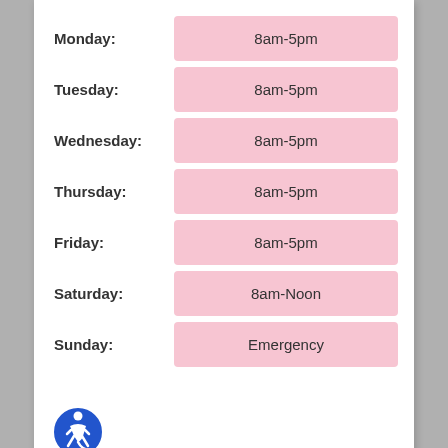| Day | Hours |
| --- | --- |
| Monday: | 8am-5pm |
| Tuesday: | 8am-5pm |
| Wednesday: | 8am-5pm |
| Thursday: | 8am-5pm |
| Friday: | 8am-5pm |
| Saturday: | 8am-Noon |
| Sunday: | Emergency |